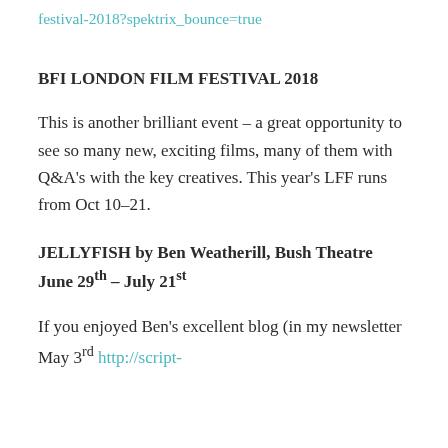festival-2018?spektrix_bounce=true
BFI LONDON FILM FESTIVAL 2018
This is another brilliant event – a great opportunity to see so many new, exciting films, many of them with Q&A's with the key creatives. This year's LFF runs from Oct 10–21.
JELLYFISH by Ben Weatherill, Bush Theatre June 29th – July 21st
If you enjoyed Ben's excellent blog (in my newsletter May 3rd http://script-